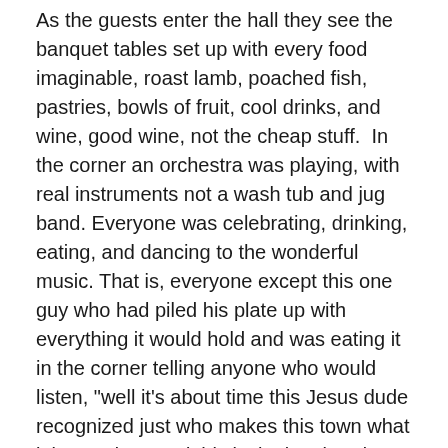As the guests enter the hall they see the banquet tables set up with every food imaginable, roast lamb, poached fish, pastries, bowls of fruit, cool drinks, and wine, good wine, not the cheap stuff.  In the corner an orchestra was playing, with real instruments not a wash tub and jug band. Everyone was celebrating, drinking, eating, and dancing to the wonderful music. That is, everyone except this one guy who had piled his plate up with everything it would hold and was eating it in the corner telling anyone who would listen, "well it's about time this Jesus dude recognized just who makes this town what it is."  "I deserved this invitation, but don't expect me to go overboard for him; this is what we should have had all along. In fact I think I will just take everything I can. And I'm going to let this Jesus person know that I'm not going to do anything unless I really want to just because he invited me to this party."
When Jesus comes in to join his guests he sees this guy in